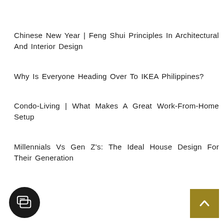Chinese New Year | Feng Shui Principles In Architectural And Interior Design
Why Is Everyone Heading Over To IKEA Philippines?
Condo-Living | What Makes A Great Work-From-Home Setup
Millennials Vs Gen Z's: The Ideal House Design For Their Generation
[Figure (illustration): Dark circular chat/comment button icon at bottom left]
[Figure (illustration): Gold/olive colored back-to-top button with upward chevron at bottom right]